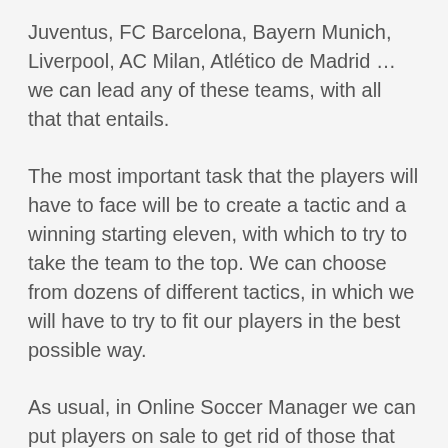Juventus, FC Barcelona, Bayern Munich, Liverpool, AC Milan, Atlético de Madrid … we can lead any of these teams, with all that that entails.
The most important task that the players will have to face will be to create a tactic and a winning starting eleven, with which to try to take the team to the top. We can choose from dozens of different tactics, in which we will have to try to fit our players in the best possible way.
As usual, in Online Soccer Manager we can put players on sale to get rid of those that do not interest us, and of course we can also try to sign other players of any team.